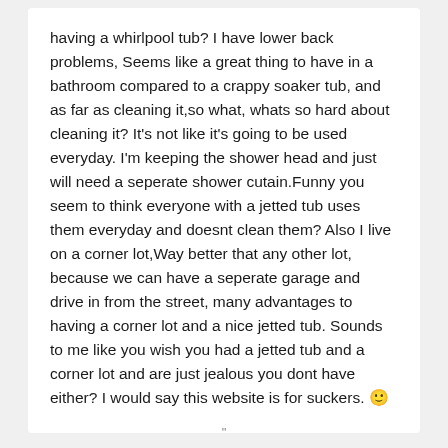having a whirlpool tub? I have lower back problems, Seems like a great thing to have in a bathroom compared to a crappy soaker tub, and as far as cleaning it,so what, whats so hard about cleaning it? It's not like it's going to be used everyday. I'm keeping the shower head and just will need a seperate shower cutain.Funny you seem to think everyone with a jetted tub uses them everyday and doesnt clean them? Also I live on a corner lot,Way better that any other lot, because we can have a seperate garage and drive in from the street, many advantages to having a corner lot and a nice jetted tub. Sounds to me like you wish you had a jetted tub and a corner lot and are just jealous you dont have either? I would say this website is for suckers. 🙂